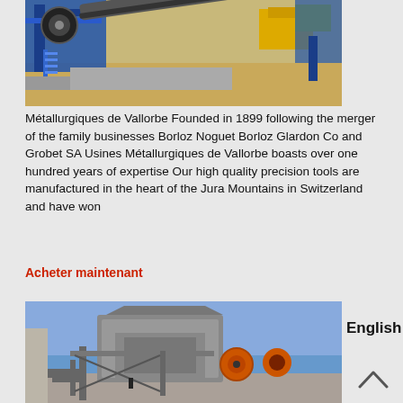[Figure (photo): Industrial mining/quarrying equipment with blue steel framework, conveyor belts, and yellow machinery components on an open terrain.]
Métallurgiques de Vallorbe Founded in 1899 following the merger of the family businesses Borloz Noguet Borloz Glardon Co and Grobet SA Usines Métallurgiques de Vallorbe boasts over one hundred years of expertise Our high quality precision tools are manufactured in the heart of the Jura Mountains in Switzerland and have won
Acheter maintenant
[Figure (photo): Large industrial jaw crusher or rock crushing machinery on a construction/quarry site with blue sky background and rubble/gravel ground.]
English